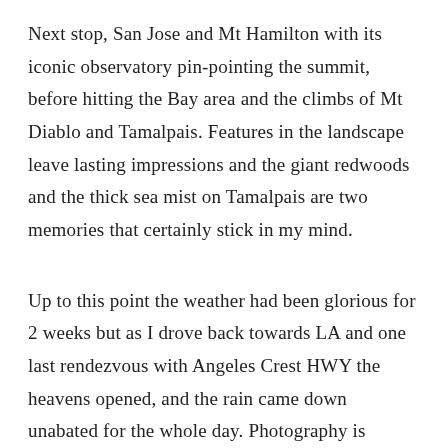Next stop, San Jose and Mt Hamilton with its iconic observatory pin-pointing the summit, before hitting the Bay area and the climbs of Mt Diablo and Tamalpais. Features in the landscape leave lasting impressions and the giant redwoods and the thick sea mist on Tamalpais are two memories that certainly stick in my mind.
Up to this point the weather had been glorious for 2 weeks but as I drove back towards LA and one last rendezvous with Angeles Crest HWY the heavens opened, and the rain came down unabated for the whole day. Photography is virtually impossible when it's like this, cameras and laptops really don't like the rain. With a day sat out in a motel, I woke up early the next morning and headed up into the mountains